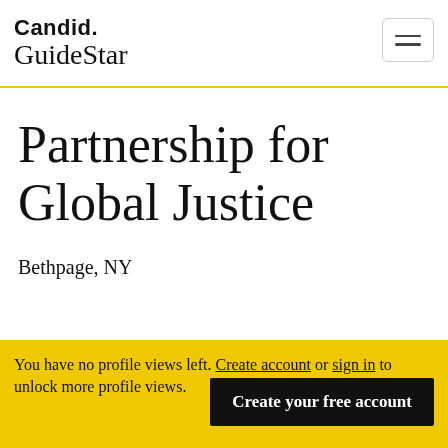Candid. GuideStar
Partnership for Global Justice
Bethpage, NY
You have no profile views left. Create account or sign in to unlock more profile views. Create your free account